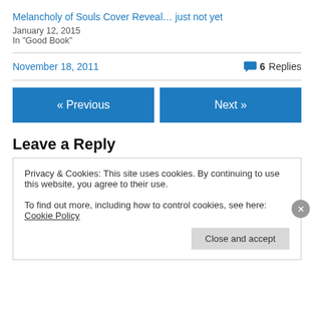Melancholy of Souls Cover Reveal… just not yet
January 12, 2015
In "Good Book"
November 18, 2011   6 Replies
« Previous
Next »
Leave a Reply
Privacy & Cookies: This site uses cookies. By continuing to use this website, you agree to their use.
To find out more, including how to control cookies, see here: Cookie Policy
Close and accept